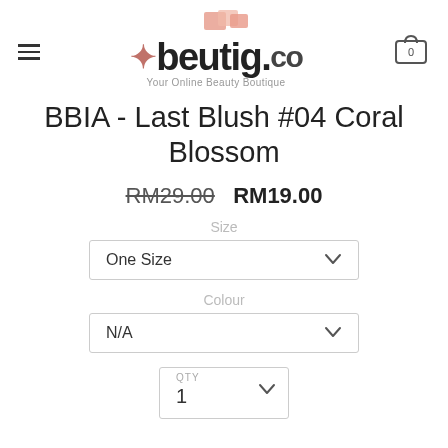beutiq.co — Your Online Beauty Boutique
BBIA - Last Blush #04 Coral Blossom
RM29.00  RM19.00
Size
One Size
Colour
N/A
QTY
1